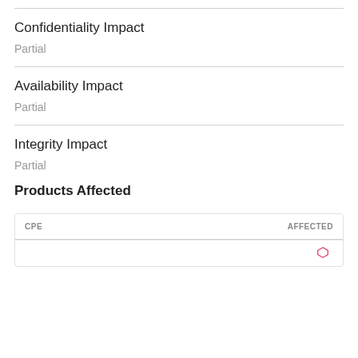Confidentiality Impact
Partial
Availability Impact
Partial
Integrity Impact
Partial
Products Affected
| CPE | AFFECTED |
| --- | --- |